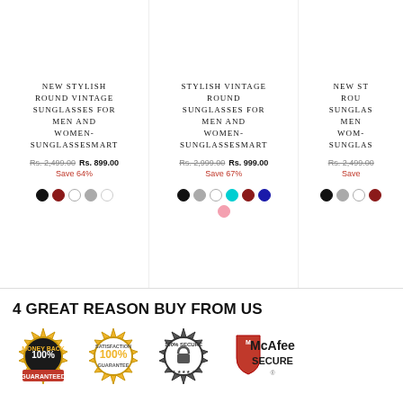NEW STYLISH ROUND VINTAGE SUNGLASSES FOR MEN AND WOMEN- SUNGLASSESMART
Rs. 2,499.00 Rs. 899.00 Save 64%
STYLISH VINTAGE ROUND SUNGLASSES FOR MEN AND WOMEN- SUNGLASSESMART
Rs. 2,999.00 Rs. 999.00 Save 67%
NEW ST ROU SUNGLAS MEN WOM SUNGLAS
Rs. 2,499.00 Save
4 GREAT REASON BUY FROM US
[Figure (logo): Money Back 100% Guaranteed badge]
[Figure (logo): Satisfaction 100% Guarantee badge]
[Figure (logo): 100% Secure badge]
[Figure (logo): McAfee Secure logo]